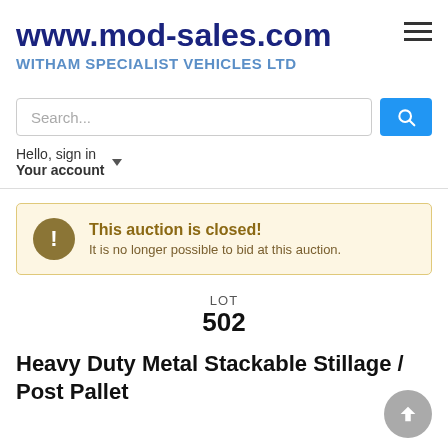www.mod-sales.com
WITHAM SPECIALIST VEHICLES LTD
Search...
Hello, sign in
Your account
This auction is closed!
It is no longer possible to bid at this auction.
LOT
502
Heavy Duty Metal Stackable Stillage / Post Pallet